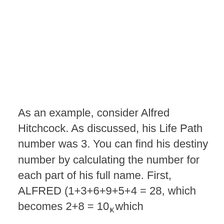As an example, consider Alfred Hitchcock. As discussed, his Life Path number was 3. You can find his destiny number by calculating the number for each part of his full name. First, ALFRED (1+3+6+9+5+4 = 28, which becomes 2+8 = 10, which
x